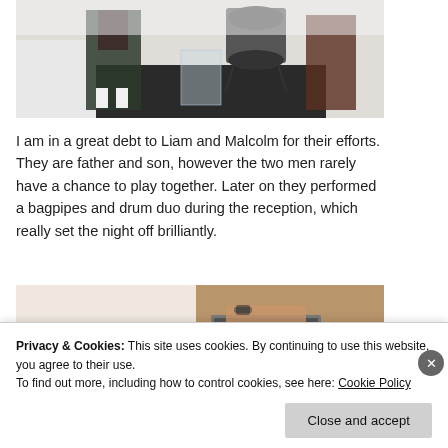[Figure (photo): Photo showing people in kilts with drums at an event, partially visible at the top of the page]
I am in a great debt to Liam and Malcolm for their efforts. They are father and son, however the two men rarely have a chance to play together. Later on they performed a bagpipes and drum duo during the reception, which really set the night off brilliantly.
[Figure (photo): Two-part image: left side shows a beige/cream background with a WordPress-style circular logo icon; right side shows a person's hands working on a laptop]
Privacy & Cookies: This site uses cookies. By continuing to use this website, you agree to their use.
To find out more, including how to control cookies, see here: Cookie Policy
Close and accept